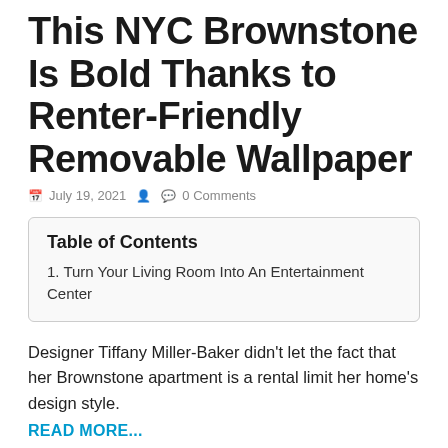This NYC Brownstone Is Bold Thanks to Renter-Friendly Removable Wallpaper
July 19, 2021  0 Comments
Table of Contents
1. Turn Your Living Room Into An Entertainment Center
Designer Tiffany Miller-Baker didn’t let the fact that her Brownstone apartment is a rental limit her home’s design style.
READ MORE...
Designer Tiffany Miller-Baker didn’t let the fact that